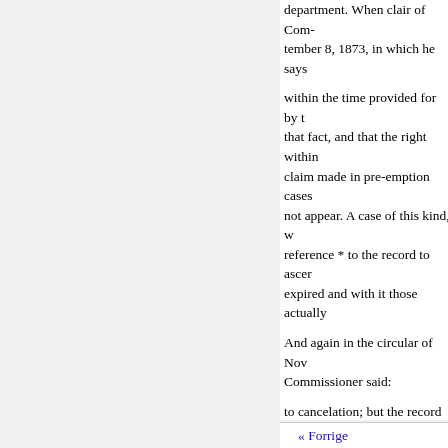department. When clair of Com- tember 8, 1873, in which he says
within the time provided for by t that fact, and that the right within claim made in pre-emption cases not appear. A case of this kind, w reference * to the record to ascer expired and with it those actually
And again in the circular of Nov Commissioner said:
to cancelation; but the record doe cancel depends upon evi. compa In such tion filings have heretofo where the same have expired by or entry ap- quire to be ascertain possibly not enforceable, is still a meaning of the lait, in the premis proofs by the companies concern required."
gally terminating the existence o found in this case, it
« Forrige